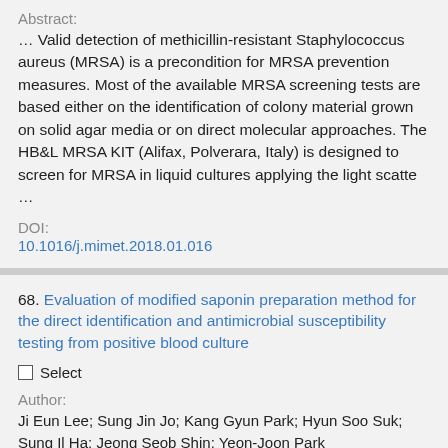Abstract:
… Valid detection of methicillin-resistant Staphylococcus aureus (MRSA) is a precondition for MRSA prevention measures. Most of the available MRSA screening tests are based either on the identification of colony material grown on solid agar media or on direct molecular approaches. The HB&L MRSA KIT (Alifax, Polverara, Italy) is designed to screen for MRSA in liquid cultures applying the light scatte …
DOI:
10.1016/j.mimet.2018.01.016
68. Evaluation of modified saponin preparation method for the direct identification and antimicrobial susceptibility testing from positive blood culture
Select
Author:
Ji Eun Lee; Sung Jin Jo; Kang Gyun Park; Hyun Soo Suk; Sung Il Ha; Jeong Seob Shin; Yeon-Joon Park